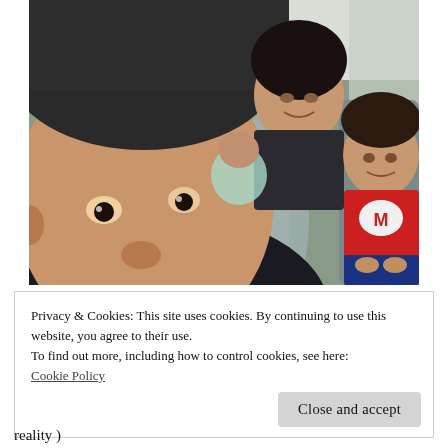[Figure (photo): Selfie photo taken inside a vehicle. A man with a shaved head and goatee is in the foreground grinning at the camera. Behind him, a woman in a dark top smiles, and a young boy in a red Mario shirt sits in the back seat.]
Privacy & Cookies: This site uses cookies. By continuing to use this website, you agree to their use.
To find out more, including how to control cookies, see here:
Cookie Policy
Close and accept
reality )